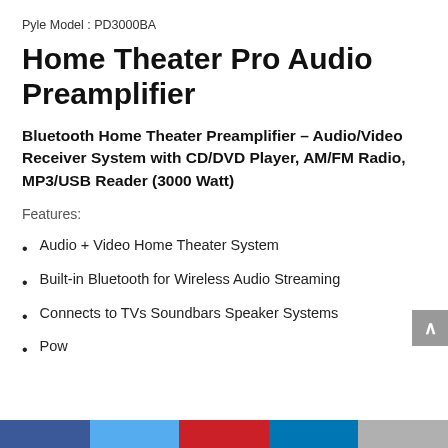Pyle Model : PD3000BA
Home Theater Pro Audio Preamplifier
Bluetooth Home Theater Preamplifier – Audio/Video Receiver System with CD/DVD Player, AM/FM Radio, MP3/USB Reader (3000 Watt)
Features:
Audio + Video Home Theater System
Built-in Bluetooth for Wireless Audio Streaming
Connects to TVs Soundbars Speaker Systems
Pow...